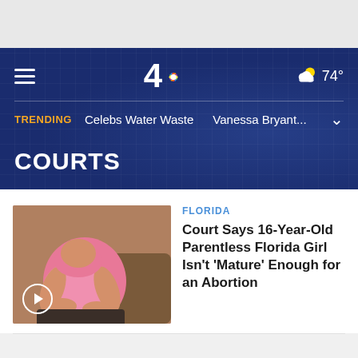NBC 4 — TRENDING: Celebs Water Waste | Vanessa Bryant... | 74°
COURTS
[Figure (photo): Pregnant woman in pink top holding her belly, seated]
FLORIDA
Court Says 16-Year-Old Parentless Florida Girl Isn't 'Mature' Enough for an Abortion